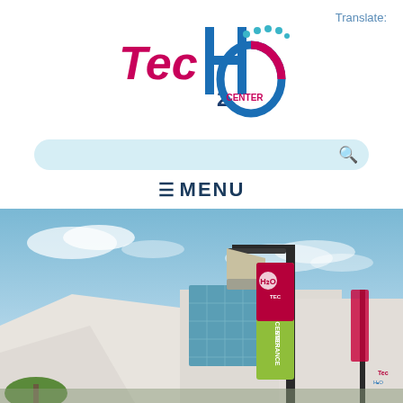Translate:
[Figure (logo): TecH2O Center logo with colorful stylized text - pink/red 'Tec', blue 'H2O' with water droplet dots, and 'CENTER' text inside a blue/pink circle]
[Figure (other): Search bar with light blue background and magnifying glass icon]
≡MENU
[Figure (photo): Exterior photo of TecH2O Center building - modern white building with glass facade, blue sky with clouds, and a street pole with TecH2O Center Entrance banners]